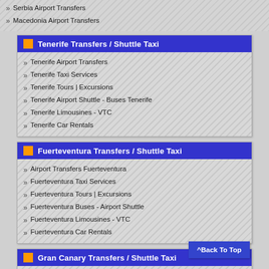Serbia Airport Transfers
Macedonia Airport Transfers
Tenerife Transfers / Shuttle Taxi
Tenerife Airport Transfers
Tenerife Taxi Services
Tenerife Tours | Excursions
Tenerife Airport Shuttle - Buses Tenerife
Tenerife Limousines - VTC
Tenerife Car Rentals
Fuerteventura Transfers / Shuttle Taxi
Airport Transfers Fuerteventura
Fuerteventura Taxi Services
Fuerteventura Tours | Excursions
Fuerteventura Buses - Airport Shuttle
Fuerteventura Limousines - VTC
Fuerteventura Car Rentals
Gran Canary Transfers / Shuttle Taxi
Gran Canary Airport Transfers
Gran Canary Taxi Services
Gran Canary Tours | Excursions
Gran Canary Buses - Airport Shuttle
Gran Canary Limousines - VTC
^Back To Top